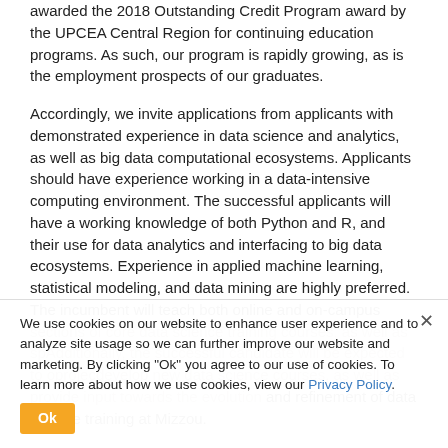awarded the 2018 Outstanding Credit Program award by the UPCEA Central Region for continuing education programs. As such, our program is rapidly growing, as is the employment prospects of our graduates.
Accordingly, we invite applications from applicants with demonstrated experience in data science and analytics, as well as big data computational ecosystems. Applicants should have experience working in a data-intensive computing environment. The successful applicants will have a working knowledge of both Python and R, and their use for data analytics and interfacing to big data ecosystems. Experience in applied machine learning, statistical modeling, and data mining are highly preferred. The incumbent will teach both online and on-campus sections of core data science training courses, as well as sp... Additionally, the successful candidate will be expected to develop new data science courses, as well as provide input towards the evolution and refinement of data science training at Mizzou.
We use cookies on our website to enhance user experience and to analyze site usage so we can further improve our website and marketing. By clicking "Ok" you agree to our use of cookies. To learn more about how we use cookies, view our Privacy Policy.